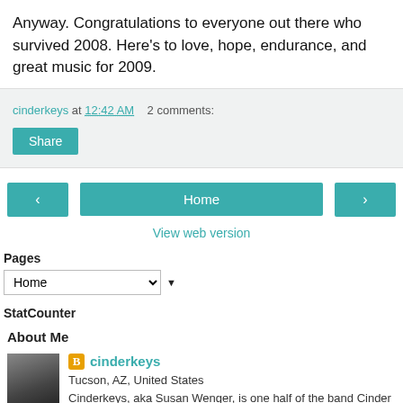Anyway. Congratulations to everyone out there who survived 2008. Here's to love, hope, endurance, and great music for 2009.
cinderkeys at 12:42 AM   2 comments:
Share
< Home >
View web version
Pages
Home
StatCounter
About Me
cinderkeys
Tucson, AZ, United States
Cinderkeys, aka Susan Wenger, is one half of the band Cinder Bridge. The other half, amazing drummer Ron Amistadi, isn't into